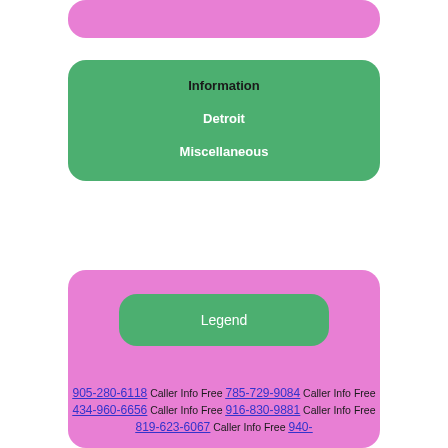[Figure (infographic): Partial pink rounded card at top of page, cut off]
Information
Detroit
Miscellaneous
Legend
905-280-6118 Caller Info Free 785-729-9084 Caller Info Free 434-960-6656 Caller Info Free 916-830-9881 Caller Info Free 819-623-6067 Caller Info Free 940-